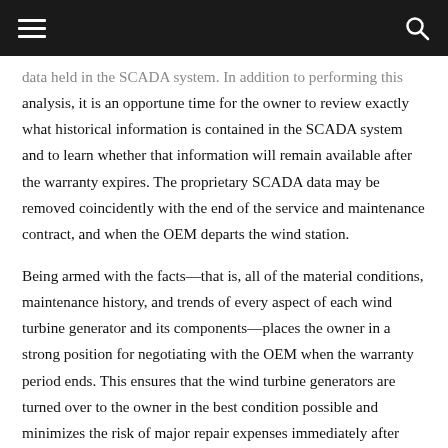≡  [menu]   [search]
data held in the SCADA system. In addition to performing this analysis, it is an opportune time for the owner to review exactly what historical information is contained in the SCADA system and to learn whether that information will remain available after the warranty expires. The proprietary SCADA data may be removed coincidently with the end of the service and maintenance contract, and when the OEM departs the wind station.
Being armed with the facts—that is, all of the material conditions, maintenance history, and trends of every aspect of each wind turbine generator and its components—places the owner in a strong position for negotiating with the OEM when the warranty period ends. This ensures that the wind turbine generators are turned over to the owner in the best condition possible and minimizes the risk of major repair expenses immediately after expiration of the warranty.